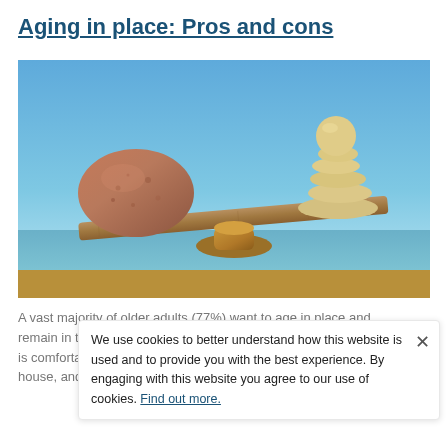Aging in place: Pros and cons
[Figure (photo): A stone balance scale with one large round reddish-brown stone on the left side and a stack of smaller beige stones on the right side, balanced on a flat stone plank resting on a stone pedestal, against a blue sky and sea background.]
A vast majority of older adults (77%) want to age in place and remain in their own homes as they get older. Home is comfortable, familiar, and close to friends and family in the house, and also in the neighbourhood and town. Friends
We use cookies to better understand how this website is used and to provide you with the best experience. By engaging with this website you agree to our use of cookies. Find out more.